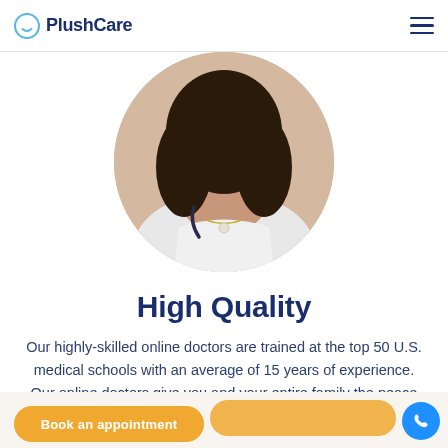PlushCare
[Figure (photo): Circular cropped photo of a female doctor wearing a white coat and stethoscope with a pearl necklace, dark curly hair, shown from shoulders up.]
High Quality
Our highly-skilled online doctors are trained at the top 50 U.S. medical schools with an average of 15 years of experience. Our online doctors give you and your entire family the peace of mind you should expect from your healthcare provider.
Book an appointment